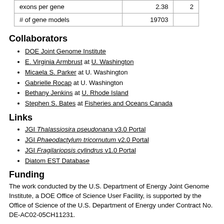| exons per gene | 2.38 | 2 |
| # of gene models | 19703 |  |
Collaborators
DOE Joint Genome Institute
E. Virginia Armbrust at U. Washington
Micaela S. Parker at U. Washington
Gabrielle Rocap at U. Washington
Bethany Jenkins at U. Rhode Island
Stephen S. Bates at Fisheries and Oceans Canada
Links
JGI Thalassiosira pseudonana v3.0 Portal
JGI Phaeodactylum tricornutum v2.0 Portal
JGI Fragilariopsis cylindrus v1.0 Portal
Diatom EST Database
Funding
The work conducted by the U.S. Department of Energy Joint Genome Institute, a DOE Office of Science User Facility, is supported by the Office of Science of the U.S. Department of Energy under Contract No. DE-AC02-05CH11231.